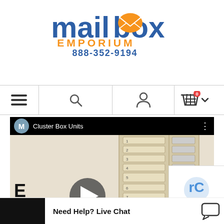[Figure (logo): Mailbox Emporium logo with text 'mailbox EMPORIUM 888-352-9194']
[Figure (screenshot): Navigation bar with hamburger menu, search icon, user icon, and shopping cart with badge showing 0]
[Figure (screenshot): YouTube video thumbnail showing Cluster Box Units video with M channel icon, play button, and image of a pedestal cluster mailbox. Text overlay reads 'E' and 'USTER BOX UNIT'. Florence Corporation Authorized Dealer logo visible.]
Need Help? Live Chat